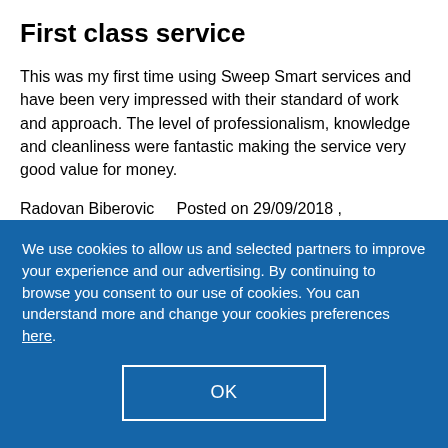First class service
This was my first time using Sweep Smart services and have been very impressed with their standard of work and approach. The level of professionalism, knowledge and cleanliness were fantastic making the service very good value for money.
Radovan Biberovic    Posted on 29/09/2018 ,
We use cookies to allow us and selected partners to improve your experience and our advertising. By continuing to browse you consent to our use of cookies. You can understand more and change your cookies preferences here.